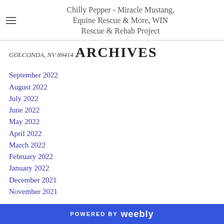Chilly Pepper - Miracle Mustang, Equine Rescue & More, WIN Rescue & Rehab Project
GOLCONDA, NV 89414
ARCHIVES
September 2022
August 2022
July 2022
June 2022
May 2022
April 2022
March 2022
February 2022
January 2022
December 2021
November 2021
POWERED BY weebly